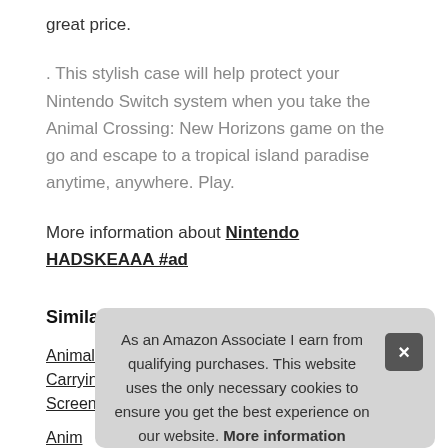great price.
. This stylish case will help protect your Nintendo Switch system when you take the Animal Crossing: New Horizons game on the go and escape to a tropical island paradise anytime, anywhere. Play.
More information about Nintendo HADSKEAAA #ad
Similar products:
Animal Crossing: New Horizons Aloha Edition Carrying Case & Screen Protector - Nintendo Switch #ad
Anim...
Nint...
Anim...
Barbie Collector: Dia De Muertos Doll, 11.5-Inch, Brunette,
As an Amazon Associate I earn from qualifying purchases. This website uses the only necessary cookies to ensure you get the best experience on our website. More information